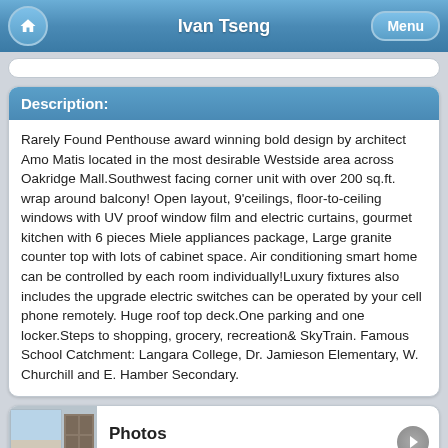Ivan Tseng
Description:
Rarely Found Penthouse award winning bold design by architect Amo Matis located in the most desirable Westside area across Oakridge Mall.Southwest facing corner unit with over 200 sq.ft. wrap around balcony! Open layout, 9'ceilings, floor-to-ceiling windows with UV proof window film and electric curtains, gourmet kitchen with 6 pieces Miele appliances package, Large granite counter top with lots of cabinet space. Air conditioning smart home can be controlled by each room individually!Luxury fixtures also includes the upgrade electric switches can be operated by your cell phone remotely. Huge roof top deck.One parking and one locker.Steps to shopping, grocery, recreation& SkyTrain. Famous School Catchment: Langara College, Dr. Jamieson Elementary, W. Churchill and E. Hamber Secondary.
Photos
View 25 more photos